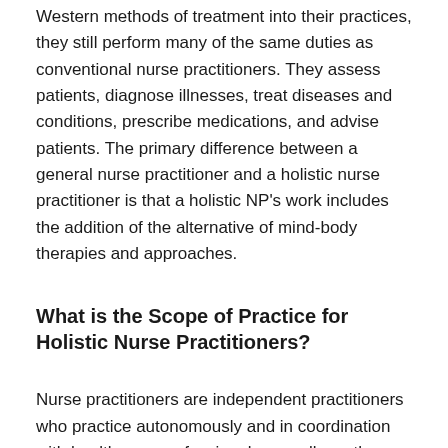Western methods of treatment into their practices, they still perform many of the same duties as conventional nurse practitioners. They assess patients, diagnose illnesses, treat diseases and conditions, prescribe medications, and advise patients. The primary difference between a general nurse practitioner and a holistic nurse practitioner is that a holistic NP's work includes the addition of the alternative of mind-body therapies and approaches.
What is the Scope of Practice for Holistic Nurse Practitioners?
Nurse practitioners are independent practitioners who practice autonomously and in coordination with health care professionals as well as other individuals. Holistic nurse practitioner practice includes assessing patients, ordering and/or performing medical tests, interpreting diagnostic and laboratory tests, making diagnoses, and initiating & managing treatments. Other holistic